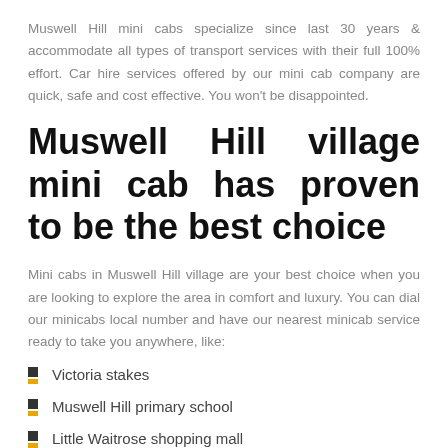Muswell Hill mini cabs specialize since last 30 years & accommodate all types of transport services with their full 100% effort. Car hire services offered by our mini cab company are quick, safe and cost effective. You won't be disappointed.
Muswell Hill village mini cab has proven to be the best choice
Mini cabs in Muswell Hill village are your best choice when you are looking to explore the area in comfort and luxury. You can dial our minicabs local number and have our nearest minicab service ready to take you anywhere, like:
Victoria stakes
Muswell Hill primary school
Little Waitrose shopping mall
Excel English academy
Muswell Hill golf club